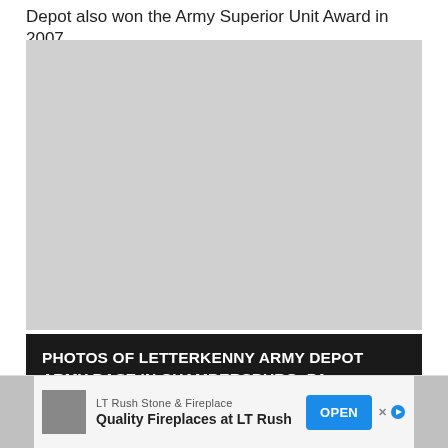Depot also won the Army Superior Unit Award in 2007.
[Figure (photo): Photo area for Letterkenny Army Depot Army Base in Chambersburg, PA]
PHOTOS OF LETTERKENNY ARMY DEPOT ARMY BASE IN CHAMBERSBURG, PA
[Figure (other): Advertisement: LT Rush Stone & Fireplace — Quality Fireplaces at LT Rush — OPEN button]